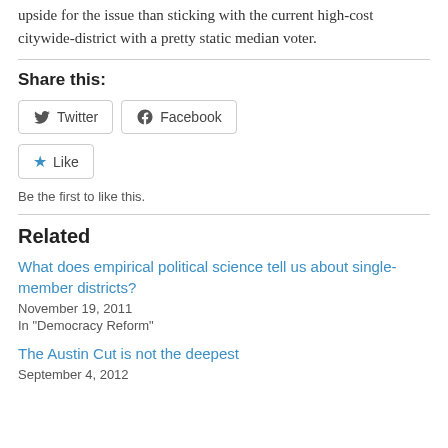upside for the issue than sticking with the current high-cost citywide-district with a pretty static median voter.
Share this:
[Figure (other): Twitter and Facebook share buttons]
[Figure (other): Like button with star icon]
Be the first to like this.
Related
What does empirical political science tell us about single-member districts?
November 19, 2011
In "Democracy Reform"
The Austin Cut is not the deepest
September 4, 2012